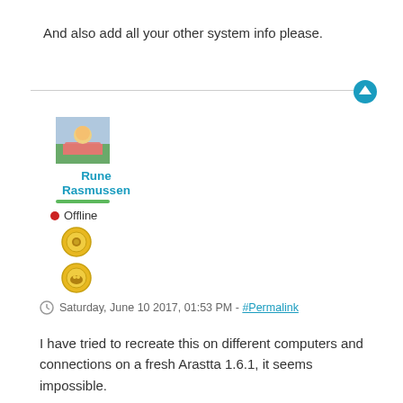And also add all your other system info please.
Rune Rasmussen
● Offline
Saturday, June 10 2017, 01:53 PM - #Permalink
I have tried to recreate this on different computers and connections on a fresh Arastta 1.6.1, it seems impossible.